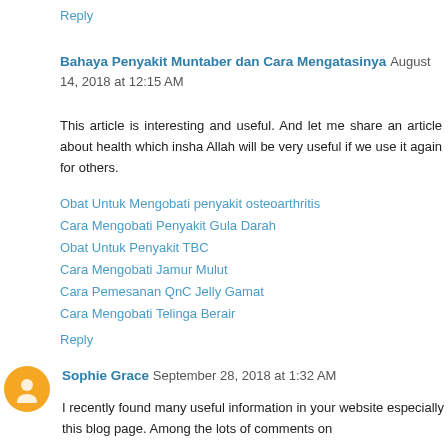Reply
Bahaya Penyakit Muntaber dan Cara Mengatasinya  August 14, 2018 at 12:15 AM
This article is interesting and useful. And let me share an article about health which insha Allah will be very useful if we use it again for others.
Obat Untuk Mengobati penyakit osteoarthritis
Cara Mengobati Penyakit Gula Darah
Obat Untuk Penyakit TBC
Cara Mengobati Jamur Mulut
Cara Pemesanan QnC Jelly Gamat
Cara Mengobati Telinga Berair
Reply
Sophie Grace  September 28, 2018 at 1:32 AM
I recently found many useful information in your website especially this blog page. Among the lots of comments on